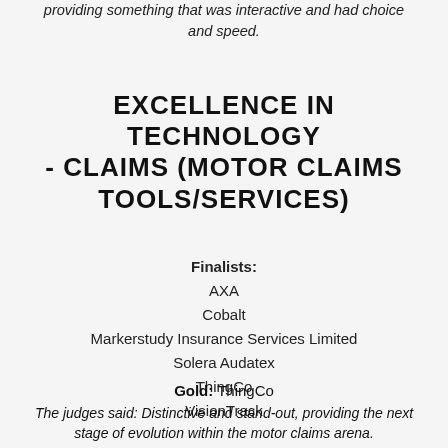providing something that was interactive and had choice and speed.
EXCELLENCE IN TECHNOLOGY - CLAIMS (MOTOR CLAIMS TOOLS/SERVICES)
Finalists: AXA, Cobalt, Markerstudy Insurance Services Limited, Solera Audatex, ThingCo, VisionTrack
Gold: ThingCo The judges said: Distinctive and stand-out, providing the next stage of evolution within the motor claims arena.